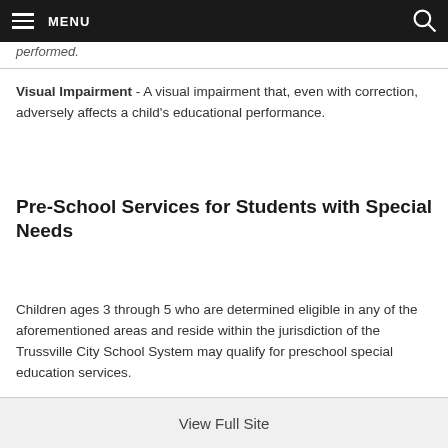MENU
performed.
Visual Impairment - A visual impairment that, even with correction, adversely affects a child's educational performance.
Pre-School Services for Students with Special Needs
Children ages 3 through 5 who are determined eligible in any of the aforementioned areas and reside within the jurisdiction of the Trussville City School System may qualify for preschool special education services.
View Full Site